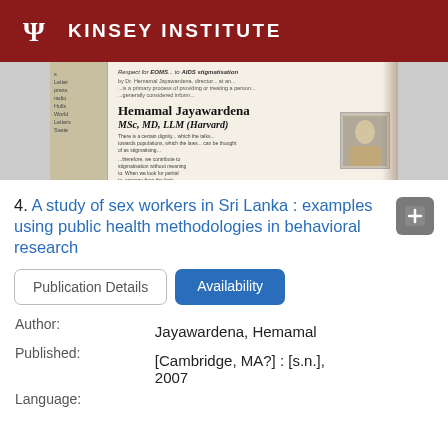KINSEY INSTITUTE
[Figure (photo): Book cover image showing a document titled 'Respect for... to AIDS stigmatisation' by Hemamal Jayawardena, MSc, MD, LLM (Harvard), with a photo of the author]
4. A study of sex workers in Sri Lanka : examples using public health methodologies in behavioral research
Publication Details | Availability
Author:
Jayawardena, Hemamal
Published:
[Cambridge, MA?] : [s.n.], 2007
Language:
English